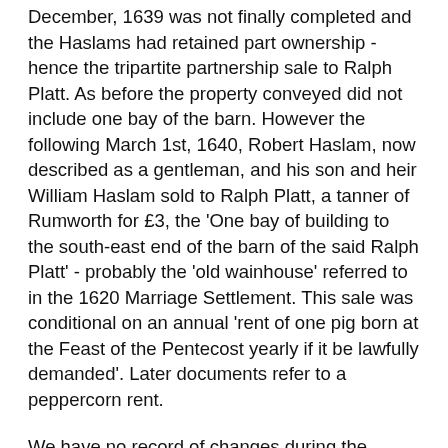December, 1639 was not finally completed and the Haslams had retained part ownership - hence the tripartite partnership sale to Ralph Platt. As before the property conveyed did not include one bay of the barn. However the following March 1st, 1640, Robert Haslam, now described as a gentleman, and his son and heir William Haslam sold to Ralph Platt, a tanner of Rumworth for £3, the 'One bay of building to the south-east end of the barn of the said Ralph Platt' - probably the 'old wainhouse' referred to in the 1620 Marriage Settlement. This sale was conditional on an annual 'rent of one pig born at the Feast of the Pentecost yearly if it be lawfully demanded'. Later documents refer to a peppercorn rent.
We have no record of changes during the Commonwealth period of Cromwell, but on the restoration of King Charles II to the throne, Top o'th' Knotts (East) was bought by the Lever family in whose hands it remained for the next two hundred years. This occurred on 2nd February, 1660 when Joseph Platt of Rumworth, a yeoman, sells his holding to Thomas Lever of Chamber and his son Nathan Lever both designated as gentlemen, for the sum of £360. This was described as the property late in the holding of Ralph Platt